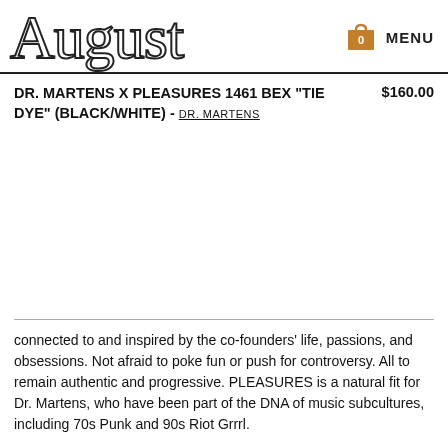August
DR. MARTENS X PLEASURES 1461 BEX "TIE DYE" (BLACK/WHITE) - DR. MARTENS   $160.00
connected to and inspired by the co-founders’ life, passions, and obsessions. Not afraid to poke fun or push for controversy. All to remain authentic and progressive. PLEASURES is a natural fit for Dr. Martens, who have been part of the DNA of music subcultures, including 70s Punk and 90s Riot Grrrl.
For the second part of their collaboration Dr. Martens timeless